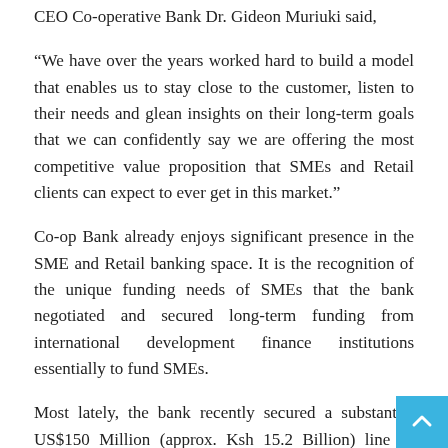CEO Co-operative Bank Dr. Gideon Muriuki said,
“We have over the years worked hard to build a model that enables us to stay close to the customer, listen to their needs and glean insights on their long-term goals that we can confidently say we are offering the most competitive value proposition that SMEs and Retail clients can expect to ever get in this market.”
Co-op Bank already enjoys significant presence in the SME and Retail banking space. It is the recognition of the unique funding needs of SMEs that the bank negotiated and secured long-term funding from international development finance institutions essentially to fund SMEs.
Most lately, the bank recently secured a substantial US$150 Million (approx. Ksh 15.2 Billion) line of credit from the International Finance Corporation (IFC) for on-lending mostly to SMEs and favourable terms.